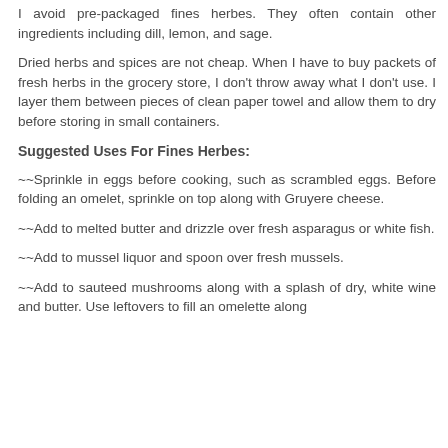I avoid pre-packaged fines herbes. They often contain other ingredients including dill, lemon, and sage.
Dried herbs and spices are not cheap. When I have to buy packets of fresh herbs in the grocery store, I don't throw away what I don't use. I layer them between pieces of clean paper towel and allow them to dry before storing in small containers.
Suggested Uses For Fines Herbes:
~~Sprinkle in eggs before cooking, such as scrambled eggs. Before folding an omelet, sprinkle on top along with Gruyere cheese.
~~Add to melted butter and drizzle over fresh asparagus or white fish.
~~Add to mussel liquor and spoon over fresh mussels.
~~Add to sauteed mushrooms along with a splash of dry, white wine and butter. Use leftovers to fill an omelette along